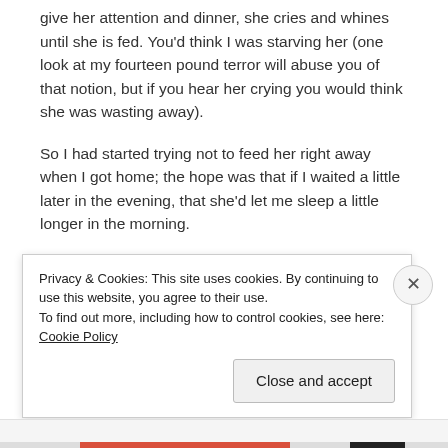give her attention and dinner, she cries and whines until she is fed. You'd think I was starving her (one look at my fourteen pound terror will abuse you of that notion, but if you hear her crying you would think she was wasting away).
So I had started trying not to feed her right away when I got home; the hope was that if I waited a little later in the evening, that she'd let me sleep a little longer in the morning.
Oh, she whined.
Privacy & Cookies: This site uses cookies. By continuing to use this website, you agree to their use.
To find out more, including how to control cookies, see here: Cookie Policy